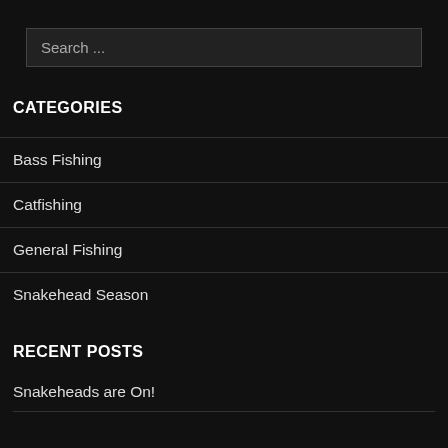Search ...
CATEGORIES
Bass Fishing
Catfishing
General Fishing
Snakehead Season
RECENT POSTS
Snakeheads are On!